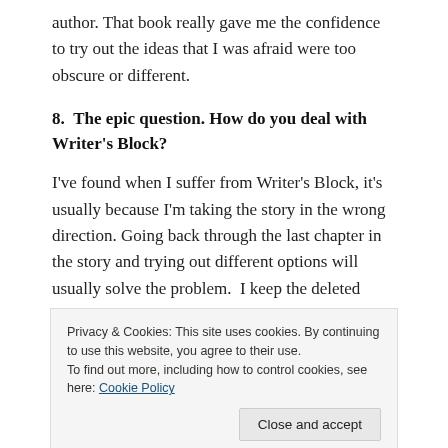author. That book really gave me the confidence to try out the ideas that I was afraid were too obscure or different.
8.  The epic question. How do you deal with Writer's Block?
I've found when I suffer from Writer's Block, it's usually because I'm taking the story in the wrong direction. Going back through the last chapter in the story and trying out different options will usually solve the problem. I keep the deleted
Privacy & Cookies: This site uses cookies. By continuing to use this website, you agree to their use.
To find out more, including how to control cookies, see here: Cookie Policy
Close and accept
how did they shape up your writing career?